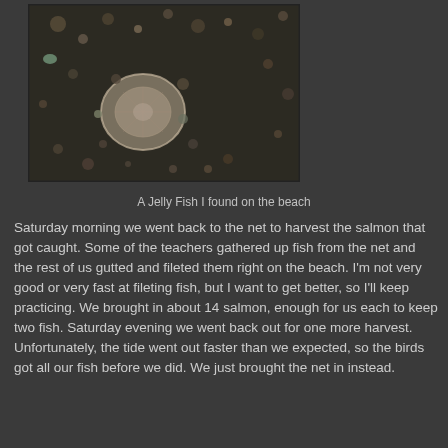[Figure (photo): A jellyfish on a rocky beach, viewed from above. The jellyfish is pale translucent with a round disc shape, surrounded by small pebbles and dark wet sand.]
A Jelly Fish I found on the beach
Saturday morning we went back to the net to harvest the salmon that got caught.  Some of the teachers gathered up fish from the net and the rest of us gutted and fileted them right on the beach.  I'm not very good or very fast at fileting fish, but I want to get better, so I'll keep practicing.  We brought in about 14 salmon, enough for us each to keep two fish.  Saturday evening we went back out for one more harvest.  Unfortunately, the tide went out faster than we expected, so the birds got all our fish before we did.  We just brought the net in instead.